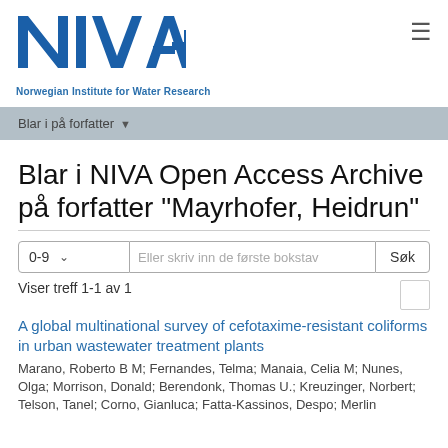[Figure (logo): NIVA logo - Norwegian Institute for Water Research blue logo with tagline]
Norwegian Institute for Water Research
Blar i på forfatter ▾
Blar i NIVA Open Access Archive på forfatter "Mayrhofer, Heidrun"
0-9  ∨   Eller skriv inn de første bokstav   Søk
Viser treff 1-1 av 1
A global multinational survey of cefotaxime-resistant coliforms in urban wastewater treatment plants
Marano, Roberto B M; Fernandes, Telma; Manaia, Celia M; Nunes, Olga; Morrison, Donald; Berendonk, Thomas U.; Kreuzinger, Norbert; Telson, Tanel; Corno, Gianluca; Fatta-Kassinos, Despo; Merlin